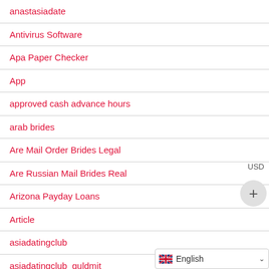anastasiadate
Antivirus Software
Apa Paper Checker
App
approved cash advance hours
arab brides
Are Mail Order Brides Legal
Are Russian Mail Brides Real
Arizona Payday Loans
Article
asiadatingclub
asiadatingclub_guldmit